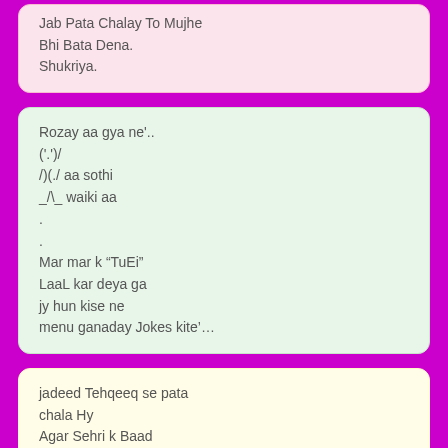Jab Pata Chalay To Mujhe
Bhi Bata Dena.
Shukriya.
Rozay aa gya ne'..
('.'/
/)(./ aa sothi
_/\_ waiki aa
.
.
Mar mar k “TuEi”
LaaL kar deya ga
jy hun kise ne
menu ganaday Jokes kite'…
jadeed Tehqeeq se pata
chala Hy
Agar Sehri k Baad
15 ghantery Gehri
Neend So Lai jaye
tou
.
.